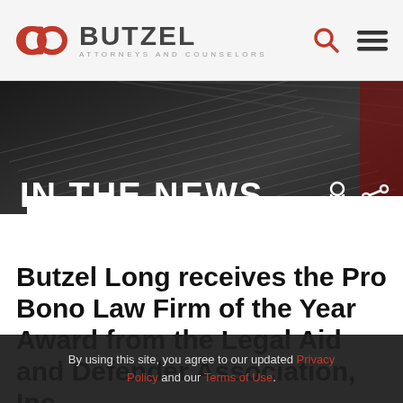BUTZEL ATTORNEYS AND COUNSELORS
[Figure (screenshot): Hero banner with diagonal building/architectural photo in dark gray and red tones, overlaid with 'IN THE NEWS' text in white]
Butzel Long receives the Pro Bono Law Firm of the Year Award from the Legal Aid and Defender Association, Inc.
By using this site, you agree to our updated Privacy Policy and our Terms of Use.